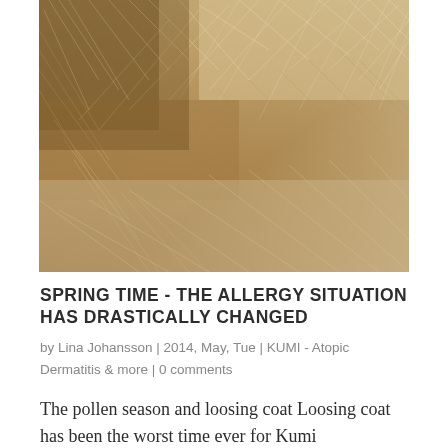[Figure (photo): Close-up photograph of animal fur, showing brown and beige/grey hair texture in detail]
SPRING TIME - THE ALLERGY SITUATION HAS DRASTICALLY CHANGED
by Lina Johansson | 2014, May, Tue | KUMI - Atopic
Dermatitis & more | 0 comments
The pollen season and loosing coat Loosing coat has been the worst time ever for Kumi